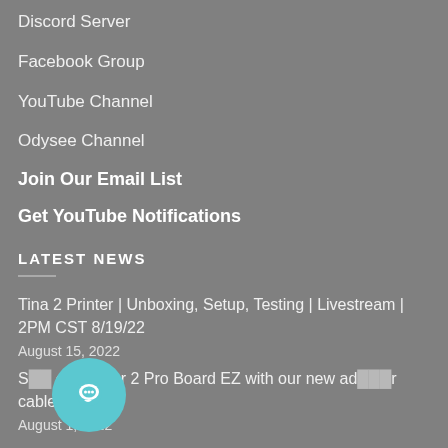Discord Server
Facebook Group
YouTube Channel
Odysee Channel
Join Our Email List
Get YouTube Notifications
LATEST NEWS
Tina 2 Printer | Unboxing, Setup, Testing | Livestream | 2PM CST 8/19/22
August 15, 2022
S[...] our Ender 2 Pro Board EZ with our new ad[...]r cables!
August 1, 2022